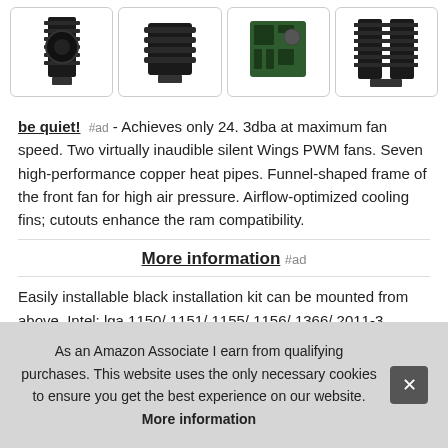[Figure (photo): Four product images of CPU coolers/heatsinks shown in rounded border boxes in a row]
be quiet! #ad - Achieves only 24. 3dba at maximum fan speed. Two virtually inaudible silent Wings PWM fans. Seven high-performance copper heat pipes. Funnel-shaped frame of the front fan for high air pressure. Airflow-optimized cooling fins; cutouts enhance the ram compatibility.
More information #ad
Easily installable black installation kit can be mounted from above. Intel: lga 1150/ 1151/ 1155/ 1156/ 1366/ 2011-3 square ILM dim 6. 4
As an Amazon Associate I earn from qualifying purchases. This website uses the only necessary cookies to ensure you get the best experience on our website. More information